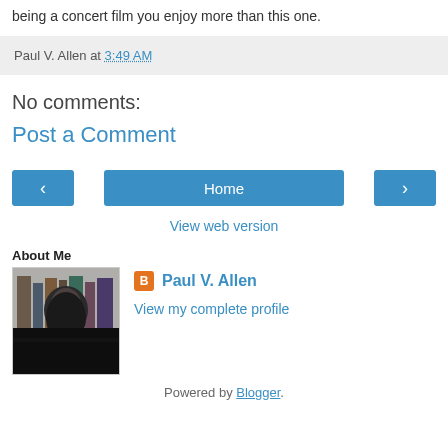being a concert film you enjoy more than this one.
Paul V. Allen at 3:49 AM
No comments:
Post a Comment
[Figure (screenshot): Navigation bar with left arrow button, Home button, and right arrow button in blue]
View web version
About Me
[Figure (photo): Black and white photo of a man with a beard in front of bookshelves]
Paul V. Allen
View my complete profile
Powered by Blogger.